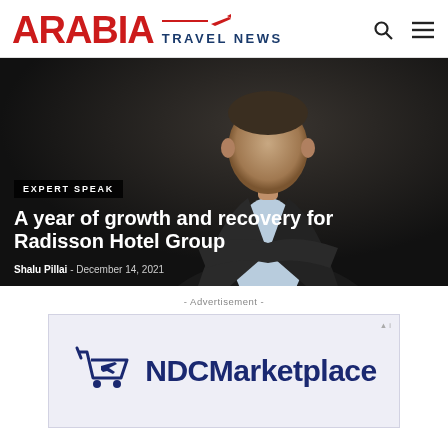ARABIA TRAVEL NEWS
[Figure (photo): Dark-background professional photo of a man in a suit with arms crossed]
EXPERT SPEAK
A year of growth and recovery for Radisson Hotel Group
Shalu Pillai - December 14, 2021
- Advertisement -
[Figure (logo): NDCMarketplace logo with shopping cart icon containing an airplane]